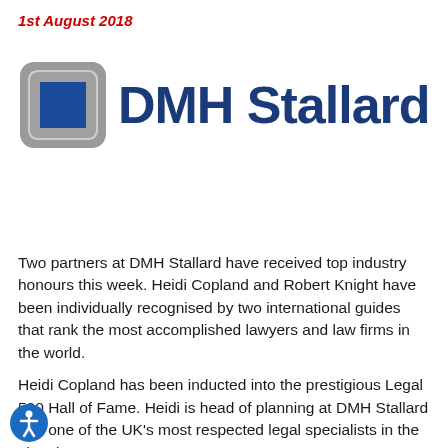1st August 2018
[Figure (logo): DMH Stallard law firm logo — grey rounded square frame containing a blue square, next to 'DMH Stallard' text in dark navy blue]
Two partners at DMH Stallard have received top industry honours this week.  Heidi Copland and Robert Knight have been individually recognised by two international guides that rank the most accomplished lawyers and law firms in the world.
Heidi Copland has been inducted into the prestigious Legal 500 Hall of Fame.  Heidi is head of planning at DMH Stallard and one of the UK's most respected legal specialists in the planning sector.